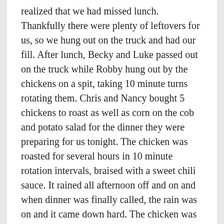realized that we had missed lunch. Thankfully there were plenty of leftovers for us, so we hung out on the truck and had our fill. After lunch, Becky and Luke passed out on the truck while Robby hung out by the chickens on a spit, taking 10 minute turns rotating them. Chris and Nancy bought 5 chickens to roast as well as corn on the cob and potato salad for the dinner they were preparing for us tonight. The chicken was roasted for several hours in 10 minute rotation intervals, braised with a sweet chili sauce. It rained all afternoon off and on and when dinner was finally called, the rain was on and it came down hard. The chicken was served a bit on the pink side but didn’t last long. After dinner, we hiked up a small hill for sunset and got some nice photos of the evening’s rays. Robby found an arrowhead in the road which he kept as a souvenir, and no surprise, everyone crashed to their tents by 8 pm after last night’s hard core partying.